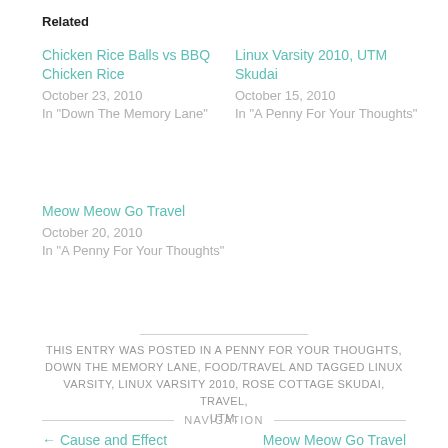Related
Chicken Rice Balls vs BBQ Chicken Rice
October 23, 2010
In "Down The Memory Lane"
Linux Varsity 2010, UTM Skudai
October 15, 2010
In "A Penny For Your Thoughts"
Meow Meow Go Travel
October 20, 2010
In "A Penny For Your Thoughts"
THIS ENTRY WAS POSTED IN A PENNY FOR YOUR THOUGHTS, DOWN THE MEMORY LANE, FOOD/TRAVEL AND TAGGED LINUX VARSITY, LINUX VARSITY 2010, ROSE COTTAGE SKUDAI, TRAVEL, UTM.
NAVIGATION
← Cause and Effect
Meow Meow Go Travel